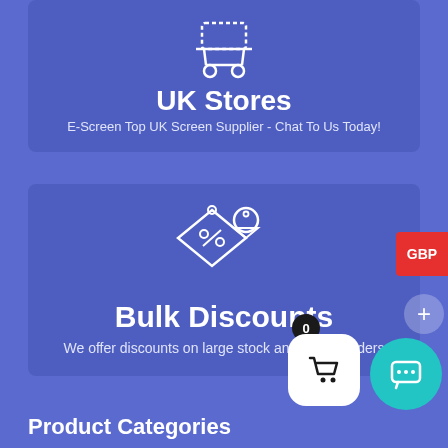[Figure (illustration): UK Stores promotional card with shopping cart icon, title 'UK Stores' and subtitle text on blue background]
[Figure (illustration): Bulk Discounts promotional card with discount tag icon, title 'Bulk Discounts' and subtitle text on blue background]
GBP
Product Categories